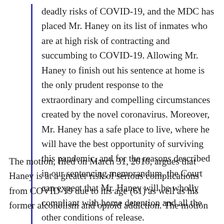deadly risks of COVID-19, and the MDC has placed Mr. Haney on its list of inmates who are at high risk of contracting and succumbing to COVID-19. Allowing Mr. Haney to finish out his sentence at home is the only prudent response to the extraordinary and compelling circumstances created by the novel coronavirus. Moreover, Mr. Haney has a safe place to live, where he will have the best opportunity of surviving this pandemic, and for the reasons described in our sentencing memorandum, the Court can expect that Mr. Haney will be wholly compliant with home detention and all the other conditions of release.
The motion, filed on March 31, 2010, argues that Haney is at a greater risk of serious complications from COVID-19 due to his age (61) as well as his former alcoholism and opioid addiction. The motion